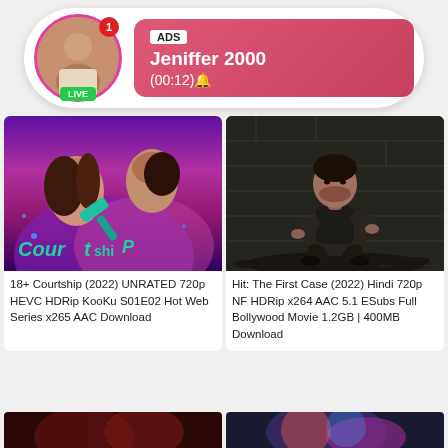[Figure (screenshot): Ad overlay with live avatar, pink bubble showing ADS label, name Jeniffer 2000, timer (00:12)]
ADS
Jeniffer 2000
(00:12)🔔
[Figure (photo): 18+ Courtship web series thumbnail - couple romance purple background with gavel logo]
18+ Courtship (2022) UNRATED 720p HEVC HDRip KooKu S01E02 Hot Web Series x265 AAC Download
[Figure (photo): Hit: The First Case 2022 movie thumbnail - man crouching in dark setting]
Hit: The First Case (2022) Hindi 720p NF HDRip x264 AAC 5.1 ESubs Full Bollywood Movie 1.2GB | 400MB Download
[Figure (photo): Bottom left partial thumbnail - dark reddish horror style image]
[Figure (photo): Bottom right partial thumbnail - colorful sci-fi/medical style image]